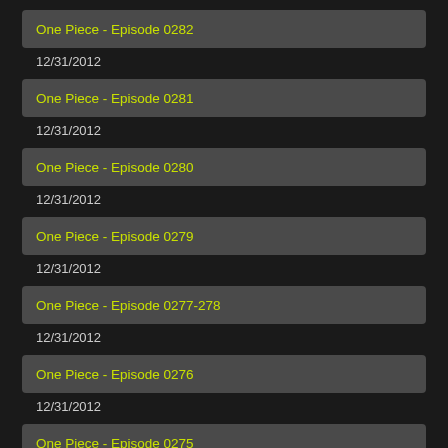One Piece - Episode 0282
12/31/2012
One Piece - Episode 0281
12/31/2012
One Piece - Episode 0280
12/31/2012
One Piece - Episode 0279
12/31/2012
One Piece - Episode 0277-278
12/31/2012
One Piece - Episode 0276
12/31/2012
One Piece - Episode 0275